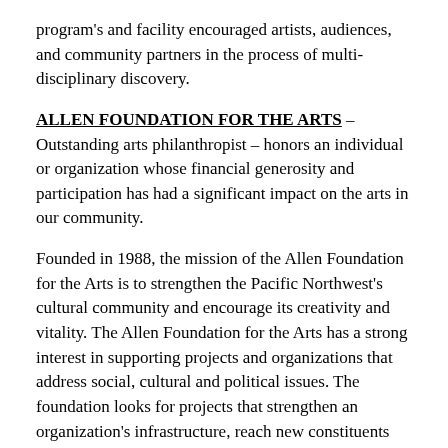program's and facility encouraged artists, audiences, and community partners in the process of multi-disciplinary discovery.
ALLEN FOUNDATION FOR THE ARTS – Outstanding arts philanthropist – honors an individual or organization whose financial generosity and participation has had a significant impact on the arts in our community.
Founded in 1988, the mission of the Allen Foundation for the Arts is to strengthen the Pacific Northwest's cultural community and encourage its creativity and vitality. The Allen Foundation for the Arts has a strong interest in supporting projects and organizations that address social, cultural and political issues. The foundation looks for projects that strengthen an organization's infrastructure, reach new constituents and encourages public participation and the promotion of critical thinking.
ARTS CORPS – Outstanding contribution to arts education – honors an individual or organization that has made a significant